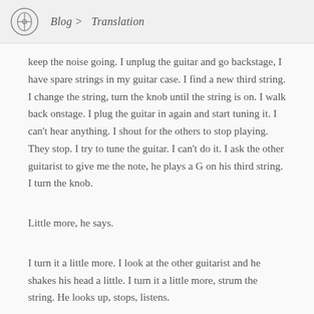Blog > Translation
keep the noise going. I unplug the guitar and go backstage, I have spare strings in my guitar case. I find a new third string. I change the string, turn the knob until the string is on. I walk back onstage. I plug the guitar in again and start tuning it. I can't hear anything. I shout for the others to stop playing. They stop. I try to tune the guitar. I can't do it. I ask the other guitarist to give me the note, he plays a G on his third string. I turn the knob.
Little more, he says.
I turn it a little more. I look at the other guitarist and he shakes his head a little. I turn it a little more, strum the string. He looks up, stops, listens.
Little higher, he says.